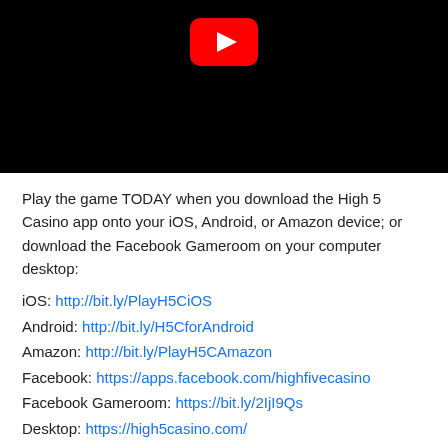[Figure (screenshot): YouTube video thumbnail with black background and red YouTube play button icon centered at the top]
Play the game TODAY when you download the High 5 Casino app onto your iOS, Android, or Amazon device; or download the Facebook Gameroom on your computer desktop:
iOS: http://bit.ly/PlayH5CiOS
Android: http://bit.ly/H5CforAndroid
Amazon: http://bit.ly/PlayH5CAmazon
Facebook: https://apps.facebook.com/highfivecasino
Facebook Gameroom: https://bit.ly/2IjI9Qs
Desktop: https://high5casino.com/